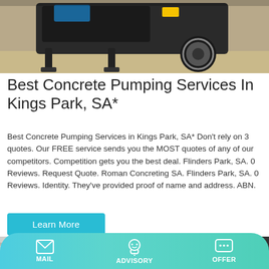[Figure (photo): Photo of a concrete pumping truck/equipment on a construction site, dark machinery with a tire and stabilizer legs visible, tan/gravel ground surface]
Best Concrete Pumping Services In Kings Park, SA*
Best Concrete Pumping Services in Kings Park, SA* Don't rely on 3 quotes. Our FREE service sends you the MOST quotes of any of our competitors. Competition gets you the best deal. Flinders Park, SA. 0 Reviews. Request Quote. Roman Concreting SA. Flinders Park, SA. 0 Reviews. Identity. They've provided proof of name and address. ABN.
Learn More
[Figure (photo): Photo of a warehouse or industrial interior with steel structural beams and ceiling framework visible]
MAIL   ADVISORY   OFFER